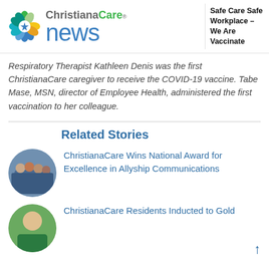[Figure (logo): ChristianaCare News logo with flower icon on left and 'news' in blue on right, with sidebar text 'Safe Care Safe Workplace – We Are Vaccinate']
Respiratory Therapist Kathleen Denis was the first ChristianaCare caregiver to receive the COVID-19 vaccine. Tabe Mase, MSN, director of Employee Health, administered the first vaccination to her colleague.
Related Stories
ChristianaCare Wins National Award for Excellence in Allyship Communications
ChristianaCare Residents Inducted to Gold